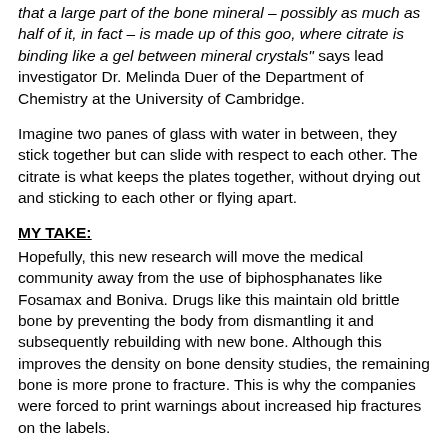that a large part of the bone mineral – possibly as much as half of it, in fact – is made up of this goo, where citrate is binding like a gel between mineral crystals" says lead investigator Dr. Melinda Duer of the Department of Chemistry at the University of Cambridge.
Imagine two panes of glass with water in between, they stick together but can slide with respect to each other. The citrate is what keeps the plates together, without drying out and sticking to each other or flying apart.
MY TAKE:
Hopefully, this new research will move the medical community away from the use of biphosphanates like Fosamax and Boniva. Drugs like this maintain old brittle bone by preventing the body from dismantling it and subsequently rebuilding with new bone. Although this improves the density on bone density studies, the remaining bone is more prone to fracture. This is why the companies were forced to print warnings about increased hip fractures on the labels.
And more...